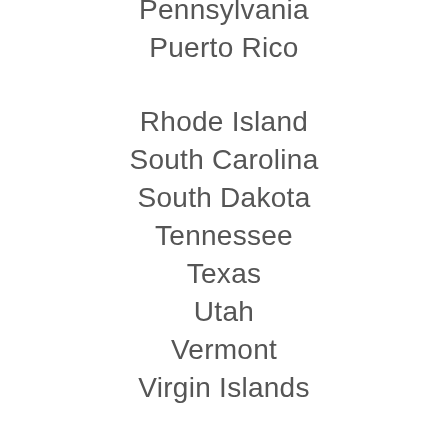Pennsylvania
Puerto Rico
Rhode Island
South Carolina
South Dakota
Tennessee
Texas
Utah
Vermont
Virgin Islands